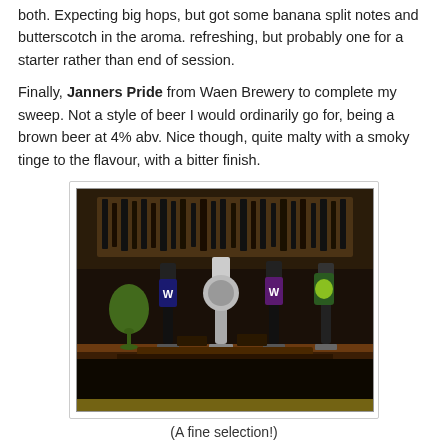both. Expecting big hops, but got some banana split notes and butterscotch in the aroma. refreshing, but probably one for a starter rather than end of session.
Finally, Janners Pride from Waen Brewery to complete my sweep. Not a style of beer I would ordinarily go for, being a brown beer at 4% abv. Nice though, quite malty with a smoky tinge to the flavour, with a bitter finish.
[Figure (photo): Bar top with multiple beer pump handles including Waen Brewery branded pumps (W logo), one with a green glass beside it, and a colourful pump clip on the right. Bottles of spirits and drinks visible in the background on lit shelves.]
(A fine selection!)
Did I mention that the ales are all £2.60 on a Friday evening? No?